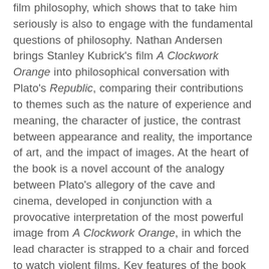film philosophy, which shows that to take him seriously is also to engage with the fundamental questions of philosophy. Nathan Andersen brings Stanley Kubrick's film A Clockwork Orange into philosophical conversation with Plato's Republic, comparing their contributions to themes such as the nature of experience and meaning, the character of justice, the contrast between appearance and reality, the importance of art, and the impact of images. At the heart of the book is a novel account of the analogy between Plato's allegory of the cave and cinema, developed in conjunction with a provocative interpretation of the most powerful image from A Clockwork Orange, in which the lead character is strapped to a chair and forced to watch violent films. Key features of the book include: a